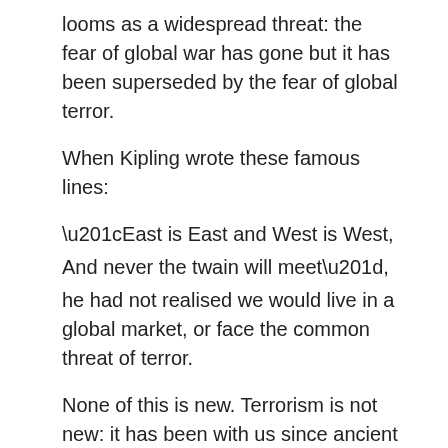looms as a widespread threat: the fear of global war has gone but it has been superseded by the fear of global terror.
When Kipling wrote these famous lines:
“East is East and West is West,
And never the twain will meet”,
he had not realised we would live in a global market, or face the common threat of terror.
None of this is new. Terrorism is not new: it has been with us since ancient times; but now, like the economy, terror is globalising. Terrorism is not a Nation. Terrorism is Al Qaeda; Hezbollah, ETA, IRA, Hamas, Tamil Tigers, Kashmiri and Punjabi Separatists; Pattani United Liberation Organisation; GIA … the list goes on.
Some other text continues that hid their...